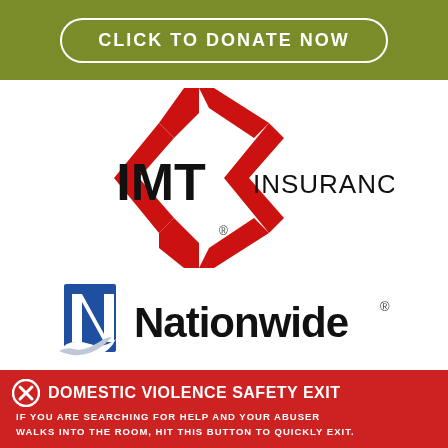CLICK TO DONATE NOW
[Figure (logo): IMT Insurance logo — red diamond chevron shapes with bold black IMT text and INSURANCE wordmark]
[Figure (logo): Nationwide Insurance logo — blue N with eagle/dove bird graphic and Nationwide wordmark in dark blue/black]
DOMESTIC VIOLENCE SAFETY EXIT — IF YOU ARE SEARCHING FOR HELP AND YOUR ABUSER WALKS INTO THE ROOM, HIT THIS BUTTON TO QUICKLY EXIT.